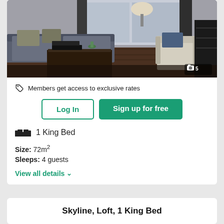[Figure (photo): Hotel room interior showing a dark blue sofa, coffee table with books, armchair by a window with curtains, and a dark wood dresser on the right. Camera icon with '5' in bottom right corner.]
Members get access to exclusive rates
Log In
Sign up for free
1 King Bed
Size: 72m²
Sleeps: 4 guests
View all details
Skyline, Loft, 1 King Bed